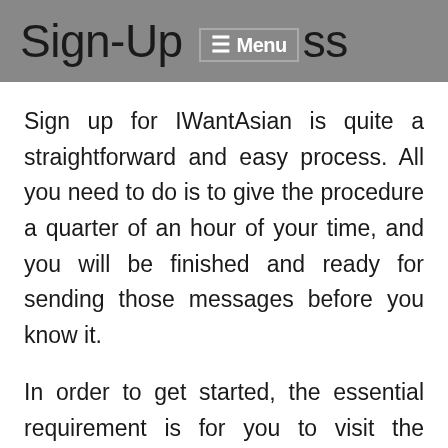Sign-Up Process
Sign up for IWantAsian is quite a straightforward and easy process. All you need to do is to give the procedure a quarter of an hour of your time, and you will be finished and ready for sending those messages before you know it.
In order to get started, the essential requirement is for you to visit the webpage designed especially for first-time users. The next thing will be to be as authentic as possible to the website's algorithm for finding out your